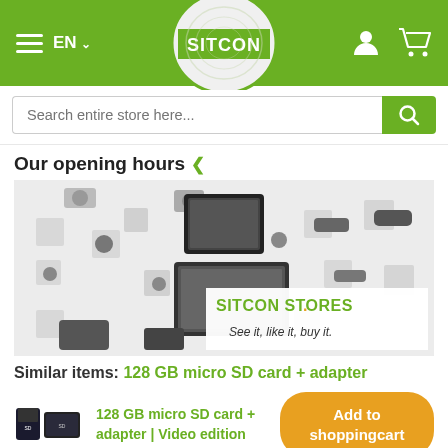SITCON store header with hamburger menu, EN language selector, SITCON logo, user account icon, and shopping cart icon
Search entire store here...
Our opening hours ▾
[Figure (photo): A wall display showing multiple security cameras and monitors mounted on a white wall. Overlay text reads: SITCON STORES. See it, like it, buy it.]
Similar items: 128 GB micro SD card + adapter
[Figure (photo): Thumbnail image of a 128 GB micro SD card with adapter]
128 GB micro SD card + adapter | Video edition
Add to shoppingcart